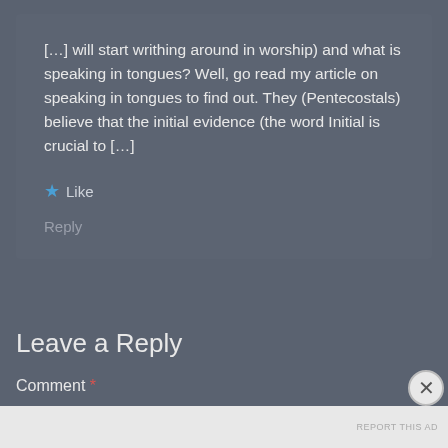[…] will start writhing around in worship) and what is speaking in tongues? Well, go read my article on speaking in tongues to find out. They (Pentecostals) believe that the initial evidence (the word Initial is crucial to […]
★ Like
Reply
Leave a Reply
Comment *